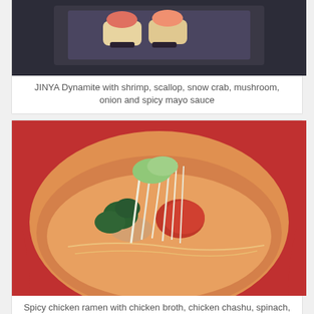[Figure (photo): Close-up photo of JINYA Dynamite sushi/appetizer with shrimp, scallop, snow crab on a dark slate plate]
JINYA Dynamite with shrimp, scallop, snow crab, mushroom, onion and spicy mayo sauce
[Figure (photo): Red bowl of spicy chicken ramen with chicken broth, chicken chashu, spinach, spicy bean sprouts, Tokyo negi, green onions and thin noodles]
Spicy chicken ramen with chicken broth, chicken chashu, spinach, spicy bean sprouts, Tokyo negi, green onions and thin noodles
[Figure (photo): Dark food photo partially visible at bottom of page]